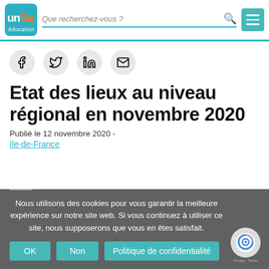[Figure (logo): UNSA Education logo — blue/teal square with stylized white letters and 'éducation' text]
Que recherchez-vous ?
[Figure (infographic): Social sharing buttons: Facebook, Twitter, LinkedIn, Email — round grey circles with icons]
Etat des lieux au niveau régional en novembre 2020
Publié le 12 novembre 2020 -
Ile-de-France
Nous utilisons des cookies pour vous garantir la meilleure expérience sur notre site web. Si vous continuez à utiliser ce site, nous supposerons que vous en êtes satisfait.
OK  Non  Politique de confidentialité